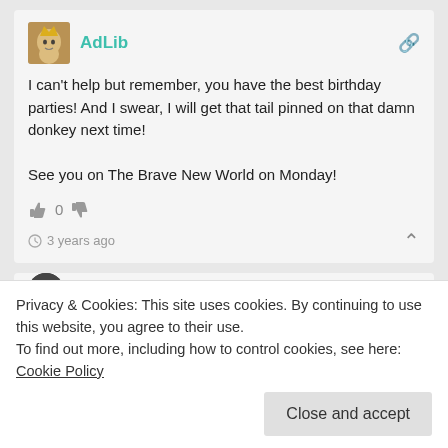[Figure (screenshot): User avatar for AdLib showing a stylized face with golden crown/hair]
AdLib
I can't help but remember, you have the best birthday parties! And I swear, I will get that tail pinned on that damn donkey next time!

See you on The Brave New World on Monday!
👍 0 👎
🕐 3 years ago
Kalime
Privacy & Cookies: This site uses cookies. By continuing to use this website, you agree to their use.
To find out more, including how to control cookies, see here: Cookie Policy